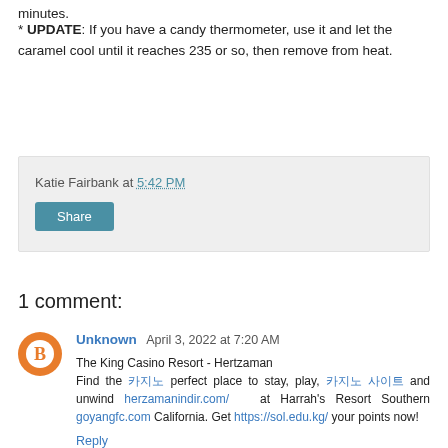minutes.
* UPDATE: If you have a candy thermometer, use it and let the caramel cool until it reaches 235 or so, then remove from heat.
Katie Fairbank at 5:42 PM
Share
1 comment:
Unknown  April 3, 2022 at 7:20 AM
The King Casino Resort - Hertzaman
Find the 카지노 perfect place to stay, play, 카지노 사이트 and unwind herzamanindir.com/ at Harrah's Resort Southern goyangfc.com California. Get https://sol.edu.kg/ your points now!
Reply